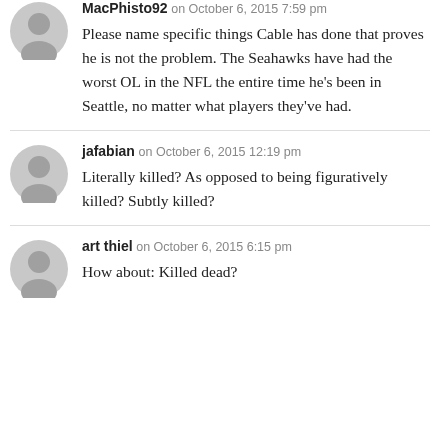MacPhisto92 on October 6, 2015 7:59 pm
Please name specific things Cable has done that proves he is not the problem. The Seahawks have had the worst OL in the NFL the entire time he's been in Seattle, no matter what players they've had.
jafabian on October 6, 2015 12:19 pm
Literally killed? As opposed to being figuratively killed? Subtly killed?
art thiel on October 6, 2015 6:15 pm
How about: Killed dead?